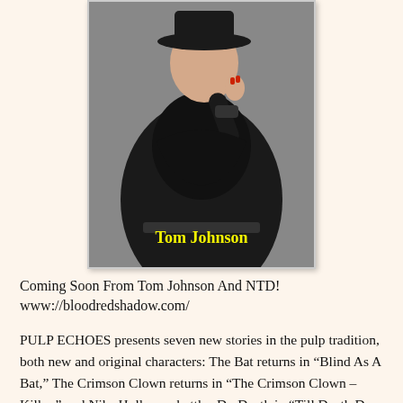[Figure (photo): A person dressed in a black coat/outfit with a wide-brimmed hat, posing with one finger raised. Yellow text overlay reads 'Tom Johnson'.]
Coming Soon From Tom Johnson And NTD!
www://bloodredshadow.com/
PULP ECHOES presents seven new stories in the pulp tradition, both new and original characters: The Bat returns in “Blind As A Bat,” The Crimson Clown returns in “The Crimson Clown – Killer,” and Nibs Holloway battles Dr. Death in “Till Death Do Us Part.” The Black Ghost is back in “Carnival of Death,” Captain Anthony Adventure in “Terror In The North Country,” The Black Cat in “A Cat